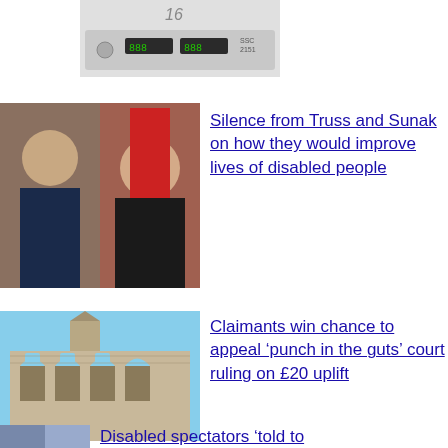[Figure (photo): Partial view of an electronic device with a green digital display, labeled SSC 2151]
[Figure (photo): Side-by-side photos of Rishi Sunak (left) and Liz Truss (right)]
Silence from Truss and Sunak on how they would improve lives of disabled people
[Figure (photo): Exterior of a Gothic-style stone court building (Royal Courts of Justice)]
Claimants win chance to appeal ‘punch in the guts’ court ruling on £20 uplift
[Figure (photo): Partial image of people, possibly at a public event]
Disabled spectators ‘told to